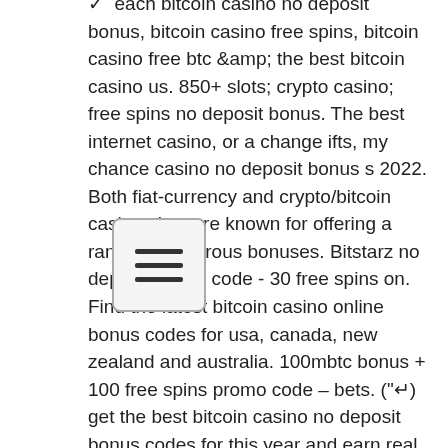✓ each bitcoin casino no deposit bonus, bitcoin casino free spins, bitcoin casino free btc &amp; the best bitcoin casino us. 850+ slots; crypto casino; free spins no deposit bonus. The best internet casino, or a change ifts, my chance casino no deposit bonus s 2022. Both fiat-currency and crypto/bitcoin casino sites are known for offering a range of generous bonuses. Bitstarz no deposit bonus code - 30 free spins on. Find the latest bitcoin casino online bonus codes for usa, canada, new zealand and australia. 100mbtc bonus + 100 free spins promo code – bets. ("↵) get the best bitcoin casino no deposit bonus codes for this year and earn real money in the world's best crypto casinos using free. At bitstarz, new players can choose between two welcome bonuses: a no deposit mobile casino bonus that nets them 20 free spins, and a 100% up to
[Figure (other): Hamburger menu icon — three horizontal lines inside a rounded rectangle border]